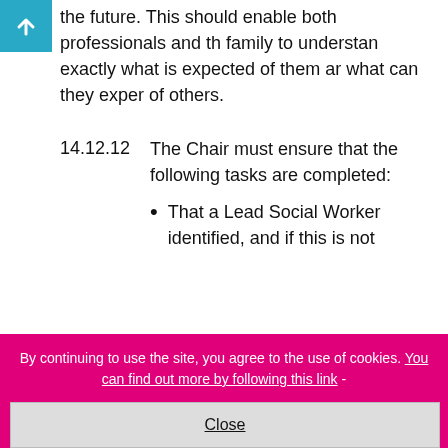the future. This should enable both professionals and the family to understand exactly what is expected of them and what can they expect of others.
14.12.12  The Chair must ensure that the following tasks are completed:
That a Lead Social Worker identified, and if this is not
By continuing to use the site, you agree to the use of cookies. You can find out more by following this link -
Close